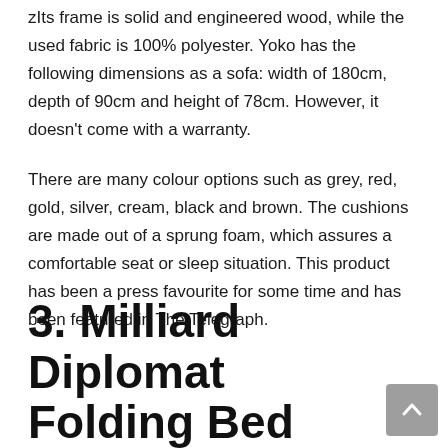zIts frame is solid and engineered wood, while the used fabric is 100% polyester. Yoko has the following dimensions as a sofa: width of 180cm, depth of 90cm and height of 78cm. However, it doesn't come with a warranty.
There are many colour options such as grey, red, gold, silver, cream, black and brown. The cushions are made out of a sprung foam, which assures a comfortable seat or sleep situation. This product has been a press favourite for some time and has been featured in The Telegraph.
3. Milliard Diplomat Folding Bed